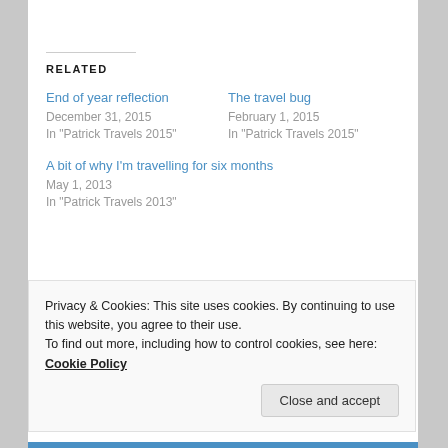RELATED
End of year reflection
December 31, 2015
In "Patrick Travels 2015"
The travel bug
February 1, 2015
In "Patrick Travels 2015"
A bit of why I'm travelling for six months
May 1, 2013
In "Patrick Travels 2013"
Privacy & Cookies: This site uses cookies. By continuing to use this website, you agree to their use.
To find out more, including how to control cookies, see here: Cookie Policy